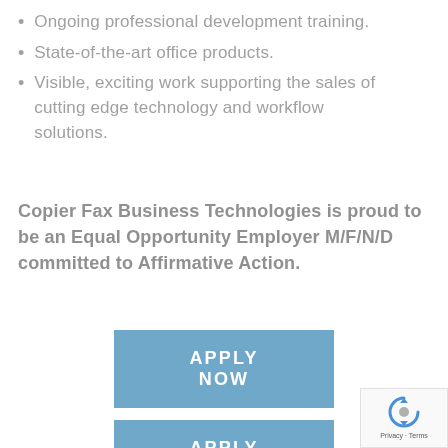Ongoing professional development training.
State-of-the-art office products.
Visible, exciting work supporting the sales of cutting edge technology and workflow solutions.
Copier Fax Business Technologies is proud to be an Equal Opportunity Employer M/F/N/D committed to Affirmative Action.
[Figure (other): APPLY NOW button — a rectangular blue button with white bold text reading APPLY NOW]
[Figure (other): reCAPTCHA badge showing recycling-arrows logo and Privacy - Terms text]
[Figure (other): Partial APPLY NOW button visible at the bottom of the page]